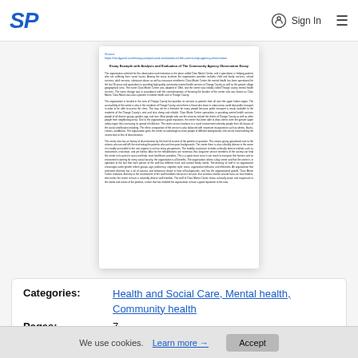SP  Sign In  ☰
[Figure (screenshot): Document preview card showing a StudyPool essay example titled 'Essay Example with Analysis and Evaluation of The Community Agency Observation Essay' with several paragraphs of body text.]
Categories: Health and Social Care, Mental health, Community health
Pages: 7
We use cookies. Learn more → Accept